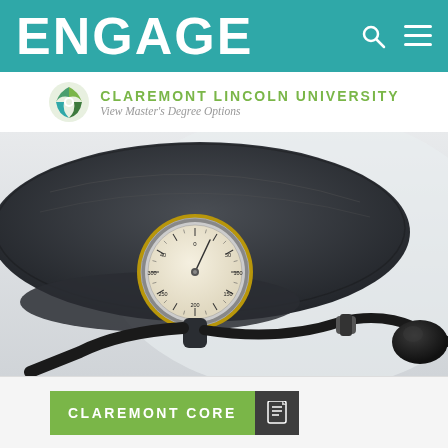ENGAGE
[Figure (logo): Claremont Lincoln University logo and tagline: View Master's Degree Options]
[Figure (photo): Close-up photograph of a black blood pressure cuff (sphygmomanometer) with a circular gauge dial and rubber bulb on a white background]
CLAREMONT CORE